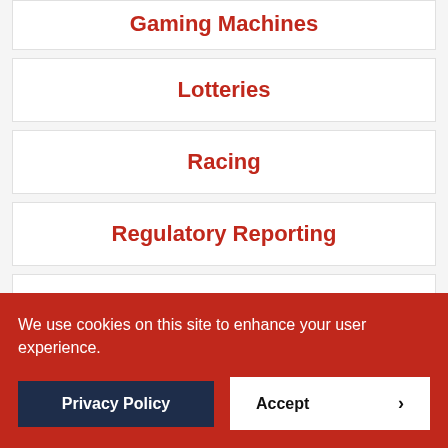Gaming Machines
Lotteries
Racing
Regulatory Reporting
Sports Betting
Alabama
Alaska
We use cookies on this site to enhance your user experience.
Privacy Policy
Accept